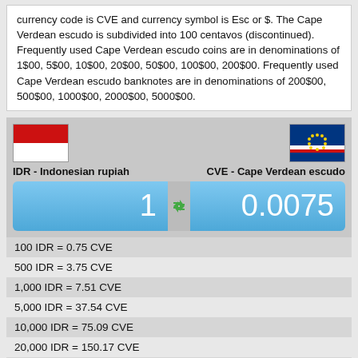currency code is CVE and currency symbol is Esc or $. The Cape Verdean escudo is subdivided into 100 centavos (discontinued). Frequently used Cape Verdean escudo coins are in denominations of 1$00, 5$00, 10$00, 20$00, 50$00, 100$00, 200$00. Frequently used Cape Verdean escudo banknotes are in denominations of 200$00, 500$00, 1000$00, 2000$00, 5000$00.
[Figure (infographic): Currency converter widget showing IDR (Indonesian rupiah) flag on left and CVE (Cape Verdean escudo) flag on right, with labels, and input boxes showing 1 IDR = 0.0075 CVE]
| 100 IDR = 0.75 CVE |
| 500 IDR = 3.75 CVE |
| 1,000 IDR = 7.51 CVE |
| 5,000 IDR = 37.54 CVE |
| 10,000 IDR = 75.09 CVE |
| 20,000 IDR = 150.17 CVE |
| 50,000 IDR = 375.43 CVE |
| 80,000 IDR = 600.68 CVE |
| 100,000 IDR = 750.85 CVE |